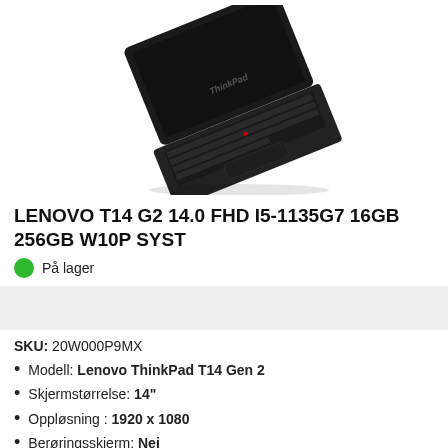[Figure (photo): Lenovo ThinkPad T14 laptop shown at an angle from above, black, keyboard and trackpad visible, ThinkPad logo on lid]
LENOVO T14 G2 14.0 FHD I5-1135G7 16GB 256GB W10P SYST
På lager
SKU: 20W000P9MX
Modell: Lenovo ThinkPad T14 Gen 2
Skjermstørrelse: 14"
Oppløsning : 1920 x 1080
Berøringsskjerm: Nei